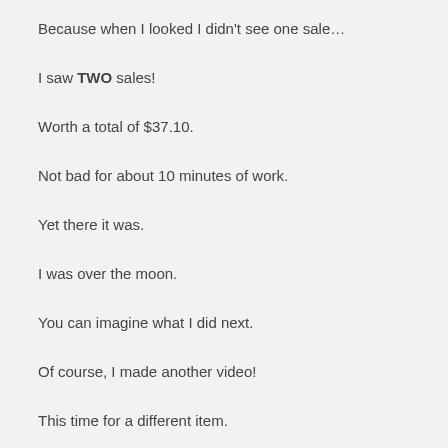Because when I looked I didn't see one sale…
I saw TWO sales!
Worth a total of $37.10.
Not bad for about 10 minutes of work.
Yet there it was.
I was over the moon.
You can imagine what I did next.
Of course, I made another video!
This time for a different item.
Remember, there's no cost at all for doing this. So why not?
I uploaded the file to YouTube and watched my account like a